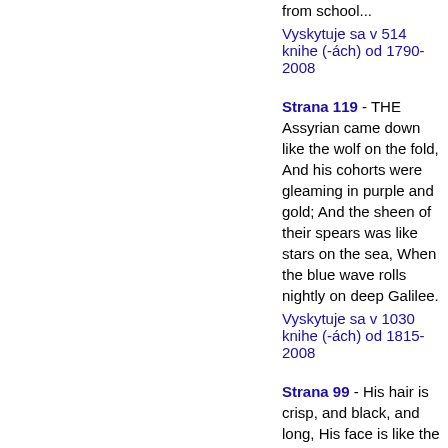from school...
Vyskytuje sa v 514 knihe (-ách) od 1790-2008
Strana 119 - THE Assyrian came down like the wolf on the fold, And his cohorts were gleaming in purple and gold; And the sheen of their spears was like stars on the sea, When the blue wave rolls nightly on deep Galilee.
Vyskytuje sa v 1030 knihe (-ách) od 1815-2008
Strana 99 - His hair is crisp, and black, and long, His face is like the tan; His brow is wet with honest sweat, He earns